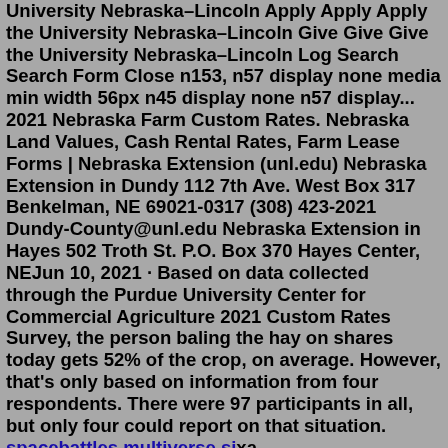University Nebraska–Lincoln Apply Apply Apply the University Nebraska–Lincoln Give Give Give the University Nebraska–Lincoln Log Search Search Form Close n153, n57 display none media min width 56px n45 display none n57 display... 2021 Nebraska Farm Custom Rates. Nebraska Land Values, Cash Rental Rates, Farm Lease Forms | Nebraska Extension (unl.edu) Nebraska Extension in Dundy 112 7th Ave. West Box 317 Benkelman, NE 69021-0317 (308) 423-2021 Dundy-County@unl.edu Nebraska Extension in Hayes 502 Troth St. P.O. Box 370 Hayes Center, NEJun 10, 2021 · Based on data collected through the Purdue University Center for Commercial Agriculture 2021 Custom Rates Survey, the person baling the hay on shares today gets 52% of the crop, on average. However, that's only based on information from four respondents. There were 97 participants in all, but only four could report on that situation. spacebattles multiverse sixa